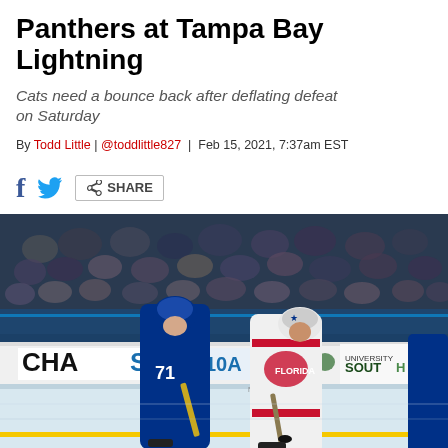Panthers at Tampa Bay Lightning
Cats need a bounce back after deflating defeat on Saturday
By Todd Little | @toddlittle827 | Feb 15, 2021, 7:37am EST
[Figure (photo): Two NHL hockey players — a Tampa Bay Lightning player (#71) in dark blue uniform and a Florida Panthers player in white uniform — battling for the puck on ice at Amalie Arena. Chase and University of South Florida signage visible on the boards. Crowd visible in background.]